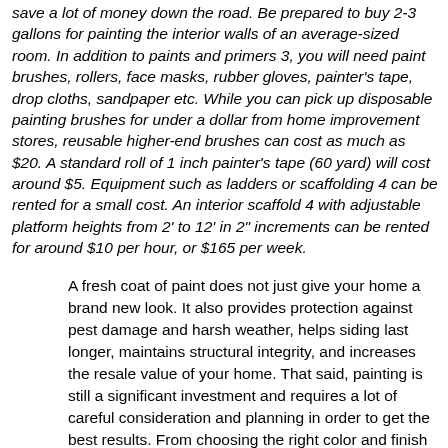save a lot of money down the road. Be prepared to buy 2-3 gallons for painting the interior walls of an average-sized room. In addition to paints and primers 3, you will need paint brushes, rollers, face masks, rubber gloves, painter's tape, drop cloths, sandpaper etc. While you can pick up disposable painting brushes for under a dollar from home improvement stores, reusable higher-end brushes can cost as much as $20. A standard roll of 1 inch painter's tape (60 yard) will cost around $5. Equipment such as ladders or scaffolding 4 can be rented for a small cost. An interior scaffold 4 with adjustable platform heights from 2' to 12' in 2" increments can be rented for around $10 per hour, or $165 per week.
A fresh coat of paint does not just give your home a brand new look. It also provides protection against pest damage and harsh weather, helps siding last longer, maintains structural integrity, and increases the resale value of your home. That said, painting is still a significant investment and requires a lot of careful consideration and planning in order to get the best results. From choosing the right color and finish for a room to buying painting supplies, there are a number of things you need to keep in mind before hiring a painter.